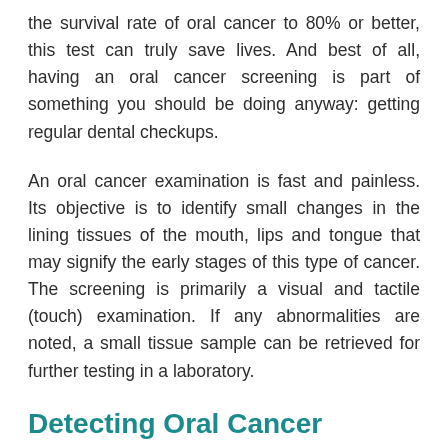the survival rate of oral cancer to 80% or better, this test can truly save lives. And best of all, having an oral cancer screening is part of something you should be doing anyway: getting regular dental checkups.
An oral cancer examination is fast and painless. Its objective is to identify small changes in the lining tissues of the mouth, lips and tongue that may signify the early stages of this type of cancer. The screening is primarily a visual and tactile (touch) examination. If any abnormalities are noted, a small tissue sample can be retrieved for further testing in a laboratory.
Detecting Oral Cancer